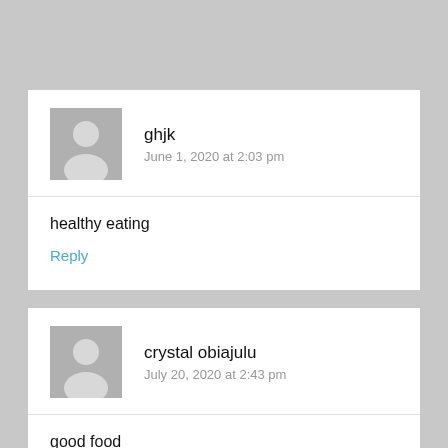ghjk
June 1, 2020 at 2:03 pm
healthy eating
Reply
crystal obiajulu
July 20, 2020 at 2:43 pm
good food
Reply